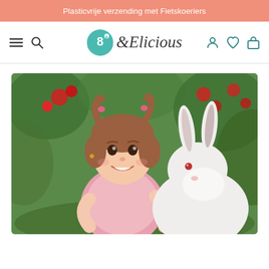Plasticvrije verzending met Fietskoeriers
[Figure (logo): 8&Elicious brand logo with teal circular icon and cursive text]
[Figure (photo): Young girl with pigtails smiling and hugging a white rabbit in a garden with red flowers and green foliage in the background]